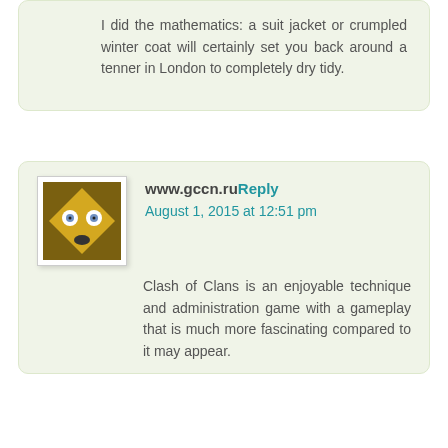I did the mathematics: a suit jacket or crumpled winter coat will certainly set you back around a tenner in London to completely dry tidy.
www.gccn.ruReply
August 1, 2015 at 12:51 pm
Clash of Clans is an enjoyable technique and administration game with a gameplay that is much more fascinating compared to it may appear.